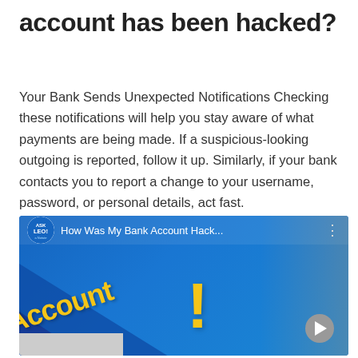account has been hacked?
Your Bank Sends Unexpected Notifications Checking these notifications will help you stay aware of what payments are being made. If a suspicious-looking outgoing is reported, follow it up. Similarly, if your bank contacts you to report a change to your username, password, or personal details, act fast.
[Figure (screenshot): YouTube video thumbnail for 'How Was My Bank Account Hack...' from Ask Leo! channel, showing the word 'Account' in yellow diagonal text, a large yellow exclamation mark, and a person's face on the right side.]